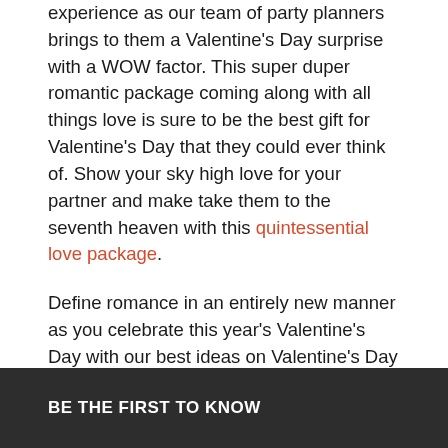experience as our team of party planners brings to them a Valentine's Day surprise with a WOW factor. This super duper romantic package coming along with all things love is sure to be the best gift for Valentine's Day that they could ever think of. Show your sky high love for your partner and make take them to the seventh heaven with this quintessential love package.
Define romance in an entirely new manner as you celebrate this year's Valentine's Day with our best ideas on Valentine's Day surprise. Convey your love in a creative and heartfelt way with our best Valentine's Day gifts and romantic ideas of celebration. Make your pick of exclusively personalized Valentine's Day presents and lay down your love in a brilliant manner.
BE THE FIRST TO KNOW